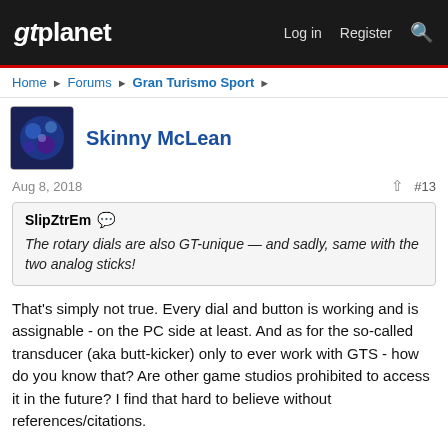gtplanet | Log in | Register
Home > Forums > Gran Turismo Sport >
Skinny McLean
Aug 8, 2018  #13
SlipZtrEm — The rotary dials are also GT-unique — and sadly, same with the two analog sticks!
That's simply not true. Every dial and button is working and is assignable - on the PC side at least. And as for the so-called transducer (aka butt-kicker) only to ever work with GTS - how do you know that? Are other game studios prohibited to access it in the future? I find that hard to believe without references/citations.
Also, in your review (where you evidently didn't even try to push the rotary dials to find out what function, if any, they had) you stated that outside of GTS "The T-GT essentially becomes a more powerful T300RS" - are you not aware that the TS-PC (Thrustmasters top-of-